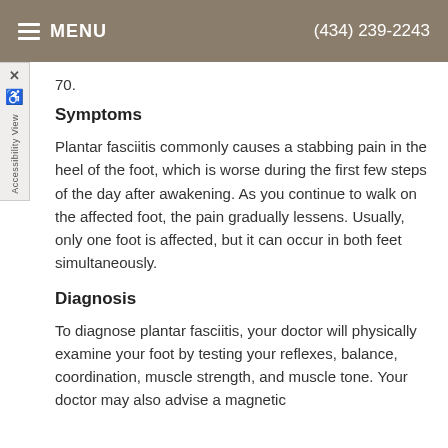MENU  (434) 239-2243
70.
Symptoms
Plantar fasciitis commonly causes a stabbing pain in the heel of the foot, which is worse during the first few steps of the day after awakening. As you continue to walk on the affected foot, the pain gradually lessens. Usually, only one foot is affected, but it can occur in both feet simultaneously.
Diagnosis
To diagnose plantar fasciitis, your doctor will physically examine your foot by testing your reflexes, balance, coordination, muscle strength, and muscle tone. Your doctor may also advise a magnetic